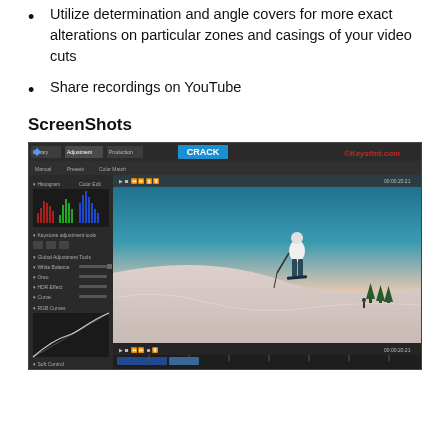Utilize determination and angle covers for more exact alterations on particular zones and casings of your video cuts
Share recordings on YouTube
ScreenShots
[Figure (screenshot): Screenshot of a video editing software interface with dark theme, showing a histogram panel on the left, a main video viewport displaying a skier on a snowy slope, adjustment tools panel, a timeline at the bottom, and watermarks 'CRACK' in blue and '©Keysfmt.com' in red.]